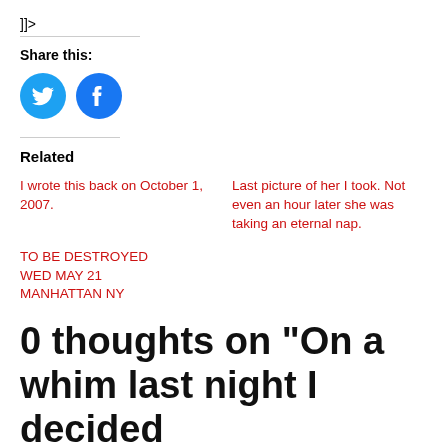]]>
Share this:
[Figure (illustration): Twitter bird icon (blue circle) and Facebook 'f' icon (blue circle) social share buttons]
Related
I wrote this back on October 1, 2007.
Last picture of her I took. Not even an hour later she was taking an eternal nap.
TO BE DESTROYED WED MAY 21 MANHATTAN NY
0 thoughts on “On a whim last night I decided